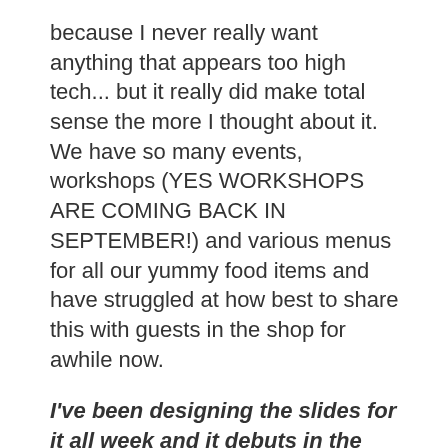because I never really want anything that appears too high tech... but it really did make total sense the more I thought about it.  We have so many events, workshops (YES WORKSHOPS ARE COMING BACK IN SEPTEMBER!) and various menus for all our yummy food items and have struggled at how best to share this with guests in the shop for awhile now.
I've been designing the slides for it all week and it debuts in the shop today!
We'd love for you to stop by and give some feedback on A) whether you like it or not and B) is it helpful and does it communicate the things you want to know about when you're in the shop?